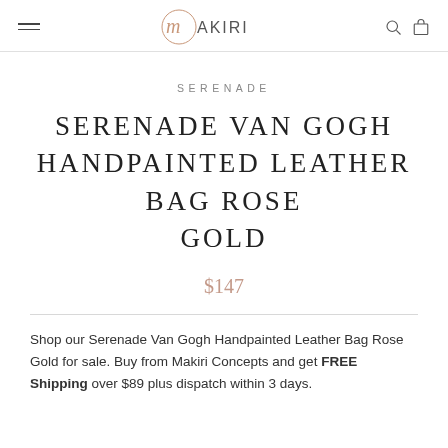MAKIRI
SERENADE
SERENADE VAN GOGH HANDPAINTED LEATHER BAG ROSE GOLD
$147
Shop our Serenade Van Gogh Handpainted Leather Bag Rose Gold for sale. Buy from Makiri Concepts and get FREE Shipping over $89 plus dispatch within 3 days.